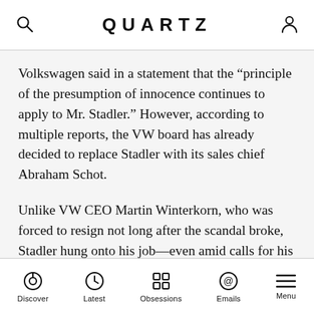QUARTZ
Volkswagen said in a statement that the “principle of the presumption of innocence continues to apply to Mr. Stadler.” However, according to multiple reports, the VW board has already decided to replace Stadler with its sales chief Abraham Schot.
Unlike VW CEO Martin Winterkorn, who was forced to resign not long after the scandal broke, Stadler hung onto his job—even amid calls for his resignation—after Audi was exposed for installing emissions-manipulating software in its cars too. He has been CEO since 2007, and a member of the Volkswagen board since 2010.
Winterkorn has not faced prosecution in Germany. The
Discover  Latest  Obsessions  Emails  Menu